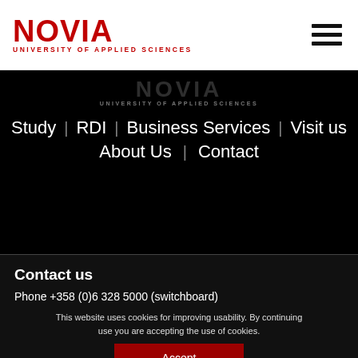[Figure (logo): Novia University of Applied Sciences logo in red with text NOVIA and UNIVERSITY OF APPLIED SCIENCES]
[Figure (logo): Hamburger menu icon (three horizontal black bars)]
[Figure (logo): Novia University of Applied Sciences logo in faded white on black background]
Study
RDI
Business Services
Visit us
About Us
Contact
Contact us
Phone +358 (0)6 328 5000 (switchboard)
This website uses cookies for improving usability. By continuing use you are accepting the use of cookies.
Accept